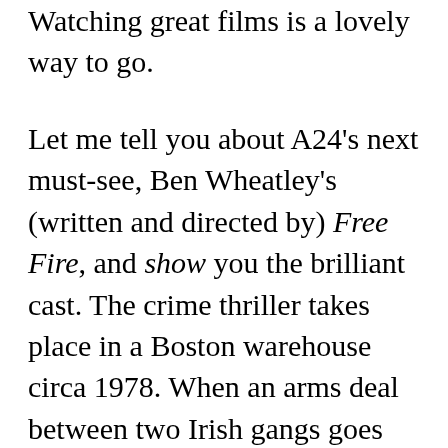Watching great films is a lovely way to go.
Let me tell you about A24's next must-see, Ben Wheatley's (written and directed by) Free Fire, and show you the brilliant cast. The crime thriller takes place in a Boston warehouse circa 1978. When an arms deal between two Irish gangs goes wrong, their shootout devolves into a “game of survival.” Here are the unbelievably great group of actors, led by Brie